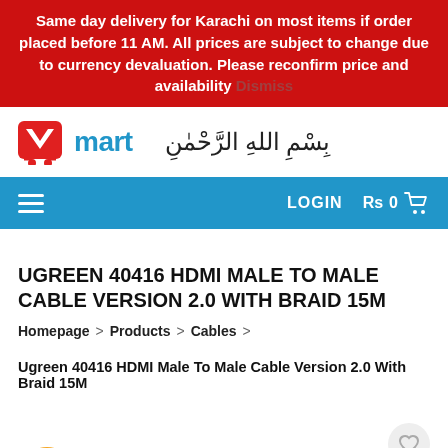Same day delivery for Karachi on most items if order placed before 11 AM. All prices are subject to change due to currency devaluation. Please reconfirm price and availability Dismiss
[Figure (logo): VMart logo with shopping cart icon and Arabic text (Bismillah)]
[Figure (screenshot): Navigation bar with hamburger menu, LOGIN button, and Rs0 cart icon]
UGREEN 40416 HDMI MALE TO MALE CABLE VERSION 2.0 WITH BRAID 15M
Homepage > Products > Cables >
Ugreen 40416 HDMI Male To Male Cable Version 2.0 With Braid 15M
[Figure (photo): Product image area showing -5% discount badge (orange circle), wishlist heart button, and partially visible cable product image]